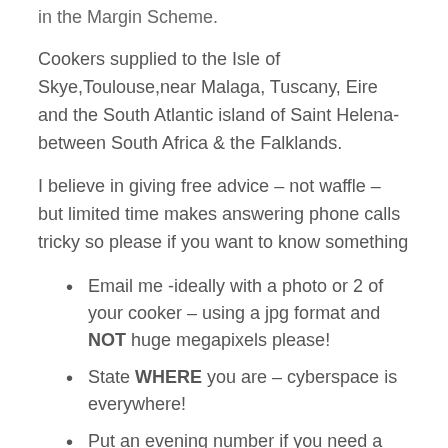in the Margin Scheme.
Cookers supplied to the Isle of Skye,Toulouse,near Malaga, Tuscany, Eire and the South Atlantic island of Saint Helena- between South Africa & the Falklands.
I believe in giving free advice – not waffle – but limited time makes answering phone calls tricky so please if you want to know something
Email me -ideally with a photo or 2 of your cooker – using a jpg format and NOT huge megapixels please!
State WHERE you are – cyberspace is everywhere!
Put an evening number if you need a return call, rather than mail
Currently (Jan 2018) you will be looking to BUY...